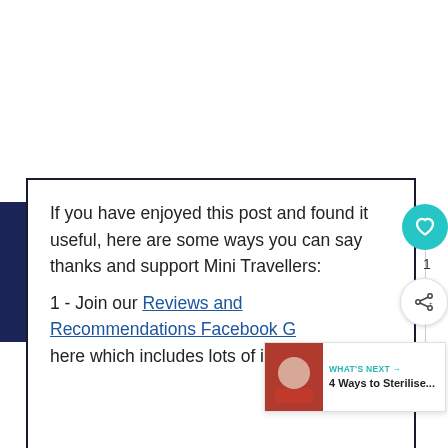If you have enjoyed this post and found it useful, here are some ways you can say thanks and support Mini Travellers:
1 - Join our Reviews and Recommendations Facebook G... here which includes lots of ideas for thing to do...
[Figure (other): What's Next promotional widget showing '4 Ways to Sterilise...' with a thumbnail image]